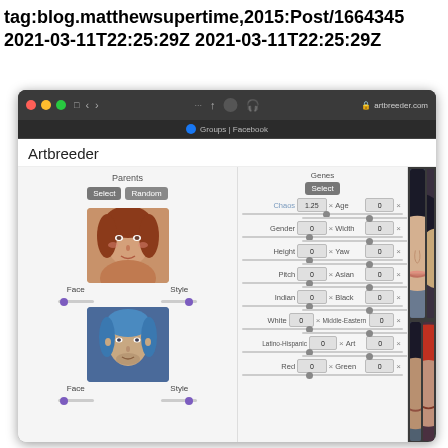tag:blog.matthewsupertime,2015:Post/1664345 2021-03-11T22:25:29Z 2021-03-11T22:25:29Z
[Figure (screenshot): Screenshot of Artbreeder web application showing face generation interface with parent face images, gene sliders (Chaos, Age, Gender, Width, Height, Yaw, Pitch, Asian, Indian, Black, White, Middle-Eastern, Latino-Hispanic, Art, Red, Green), and generated portrait images of fantasy characters with dark hair]